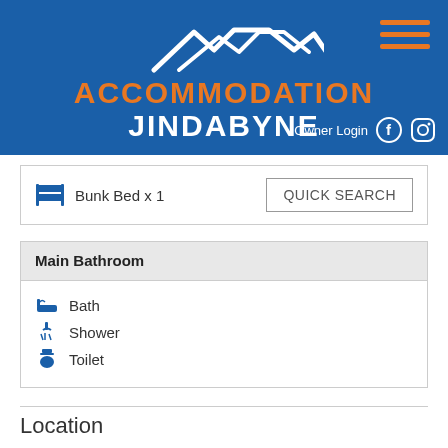[Figure (logo): Accommodation Jindabyne logo with mountain graphic, orange hamburger menu, Owner Login text, Facebook and Instagram icons on blue background]
Bunk Bed x 1
QUICK SEARCH
Main Bathroom
Bath
Shower
Toilet
Location